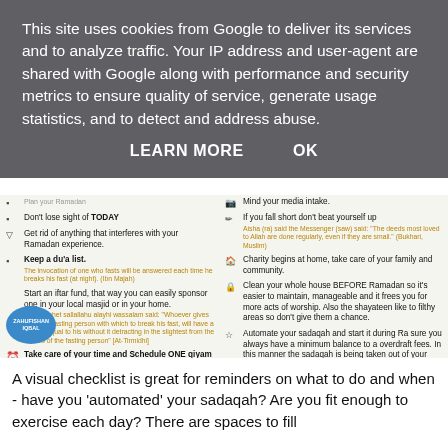This site uses cookies from Google to deliver its services and to analyze traffic. Your IP address and user-agent are shared with Google along with performance and security metrics to ensure quality of service, generate usage statistics, and to detect and address abuse.
LEARN MORE    OK
[Figure (photo): A photographed page showing a two-column Ramadan checklist with icons and text items including tips about keeping a du'a list, taking care of time, automating sadaqah, charity, and cleaning the house before Ramadan. A circular ZAHUFISHAN IQBAL logo appears at the bottom left.]
A visual checklist is great for reminders on what to do and when - have you 'automated' your sadaqah? Are you fit enough to exercise each day? There are spaces to fill